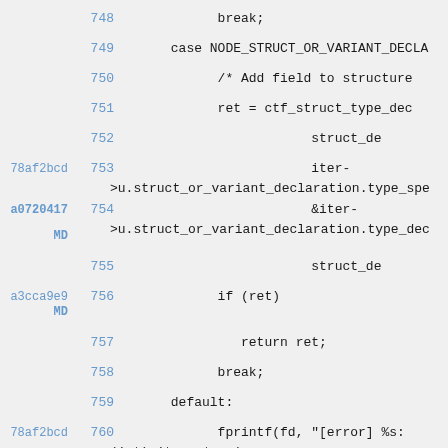748: break;
749: case NODE_STRUCT_OR_VARIANT_DECLA
750: /* Add field to structure
751: ret = ctf_struct_type_dec
752: struct_de
78af2bcd 753: iter->u.struct_or_variant_declaration.type_spe
a0720417 MD 754: &iter->u.struct_or_variant_declaration.type_dec
755: struct_de
a3cca9e9 MD 756: if (ret)
757: return ret;
758: break;
759: default:
78af2bcd 760: fprintf(fd, "[error] %s: (int) iter->type);